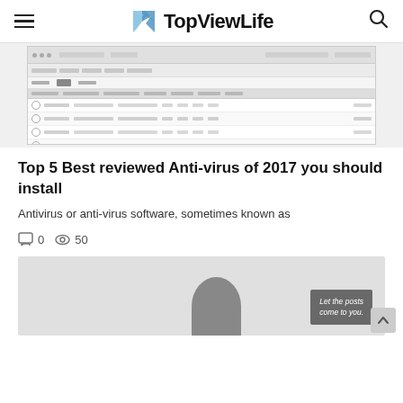TopViewLife
[Figure (screenshot): Screenshot of a data table application with rows of data, toolbar, and column headers showing trial/date information]
Top 5 Best reviewed Anti-virus of 2017 you should install
Antivirus or anti-virus software, sometimes known as
0  50
[Figure (photo): Bottom portion of a blog post image showing a person silhouette and a gray overlay box with text 'Let the posts come to you.']